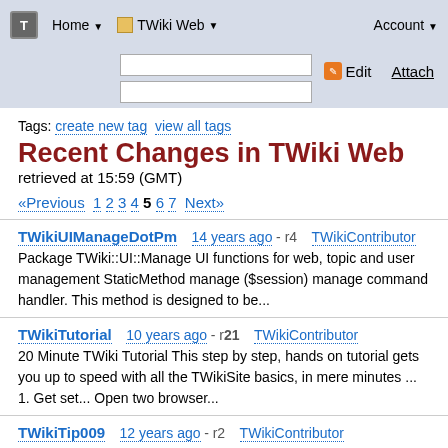Home | TWiki Web | Account | Edit | Attach
Tags: create new tag  view all tags
Recent Changes in TWiki Web retrieved at 15:59 (GMT)
«Previous 1 2 3 4 5 6 7 Next»
TWikiUIManageDotPm   14 years ago - r4   TWikiContributor
Package TWiki::UI::Manage UI functions for web, topic and user management StaticMethod manage ($session) manage command handler. This method is designed to be...
TWikiTutorial   10 years ago - r21   TWikiContributor
20 Minute TWiki Tutorial This step by step, hands on tutorial gets you up to speed with all the TWikiSite basics, in mere minutes ... 1. Get set... Open two browser...
TWikiTip009   12 years ago - r2   TWikiContributor
Disabling links in large blocks of text You can disable automatic linking of